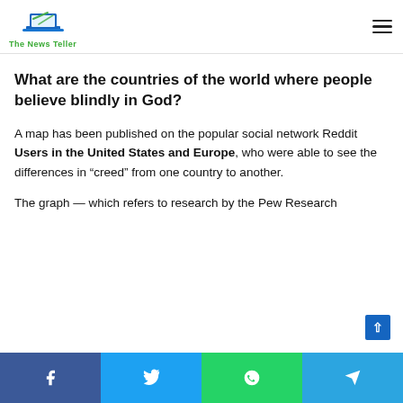The News Teller
What are the countries of the world where people believe blindly in God?
A map has been published on the popular social network Reddit Users in the United States and Europe, who were able to see the differences in “creed” from one country to another.
The graph — which refers to research by the Pew Research